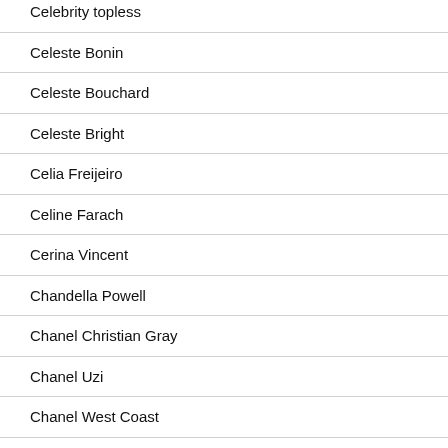Celebrity topless
Celeste Bonin
Celeste Bouchard
Celeste Bright
Celia Freijeiro
Celine Farach
Cerina Vincent
Chandella Powell
Chanel Christian Gray
Chanel Uzi
Chanel West Coast
Chantal Jeffries